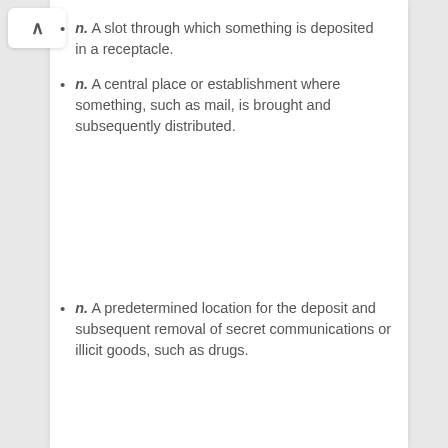n. A slot through which something is deposited in a receptacle.
n. A central place or establishment where something, such as mail, is brought and subsequently distributed.
n. A predetermined location for the deposit and subsequent removal of secret communications or illicit goods, such as drugs.